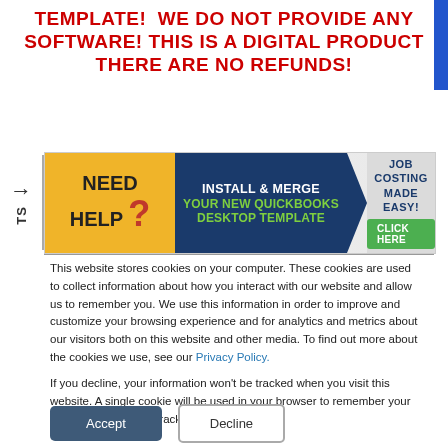TEMPLATE!  WE DO NOT PROVIDE ANY SOFTWARE! THIS IS A DIGITAL PRODUCT THERE ARE NO REFUNDS!
[Figure (infographic): Banner advertisement: 'NEED HELP?' on yellow background, center panel with 'INSTALL & MERGE YOUR NEW QUICKBOOKS DESKTOP TEMPLATE' on dark blue background, right panel with 'JOB COSTING MADE EASY!' and 'CLICK HERE' green button on keyboard image background.]
This website stores cookies on your computer. These cookies are used to collect information about how you interact with our website and allow us to remember you. We use this information in order to improve and customize your browsing experience and for analytics and metrics about our visitors both on this website and other media. To find out more about the cookies we use, see our Privacy Policy.
If you decline, your information won't be tracked when you visit this website. A single cookie will be used in your browser to remember your preference not to be tracked.
Accept | Decline